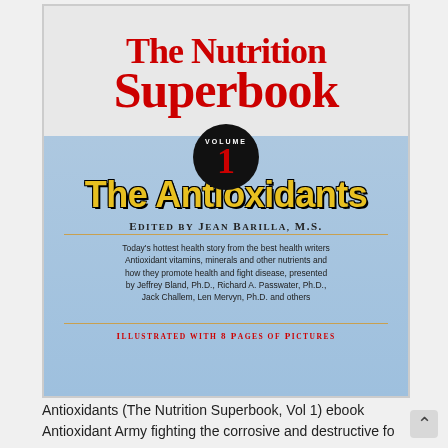[Figure (illustration): Book cover of 'The Nutrition Superbook Volume 1: The Antioxidants' edited by Jean Barilla, M.S. The cover features large red serif text for 'The Nutrition Superbook' at the top on a gray background, a black circular badge with 'VOLUME 1' in red, a blue gradient background with bold yellow text 'The Antioxidants', edited by line in black small caps, a description paragraph, and a red footer line 'Illustrated with 8 pages of pictures'.]
Antioxidants (The Nutrition Superbook, Vol 1) ebook
Antioxidant Army fighting the corrosive and destructive fo